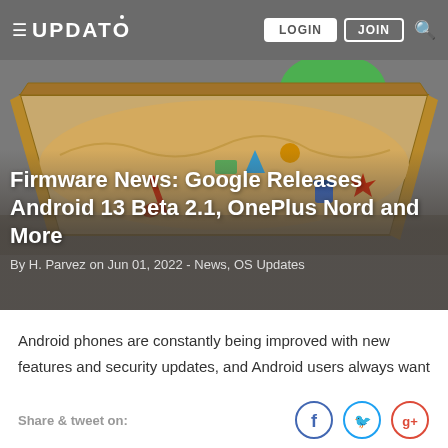≡ UPDATO  LOGIN  JOIN  🔍
[Figure (illustration): Hero image showing an Android robot mascot behind a sandbox (wooden box filled with sand and toy items like a shovel, bucket, geometric shapes). Background is dark gray.]
Firmware News: Google Releases Android 13 Beta 2.1, OnePlus Nord and More
By H. Parvez on Jun 01, 2022 - News, OS Updates
Android phones are constantly being improved with new features and security updates, and Android users always want
Share & tweet on: